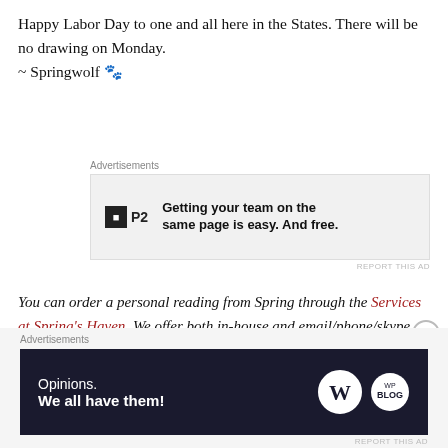Happy Labor Day to one and all here in the States. There will be no drawing on Monday.
~ Springwolf 🐾
[Figure (other): Advertisement for P2 - 'Getting your team on the same page is easy. And free.']
You can order a personal reading from Spring through the Services at Spring's Haven. We offer both in-house and email/phone/skype consultations. As a Ministerial organization, all our consultations are private and strictly confidential.
[Figure (other): Advertisement - 'Opinions. We all have them!' with WordPress logo]